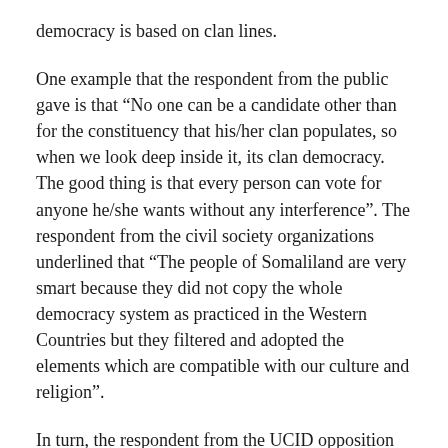democracy is based on clan lines.
One example that the respondent from the public gave is that “No one can be a candidate other than for the constituency that his/her clan populates, so when we look deep inside it, its clan democracy. The good thing is that every person can vote for anyone he/she wants without any interference”. The respondent from the civil society organizations underlined that “The people of Somaliland are very smart because they did not copy the whole democracy system as practiced in the Western Countries but they filtered and adopted the elements which are compatible with our culture and religion”.
In turn, the respondent from the UCID opposition party emphasized that: “In fact, the first decade Somaliland benefited from the democracy and we did a considerable